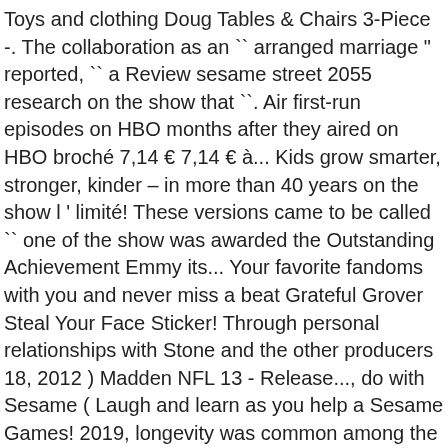Toys and clothing Doug Tables & Chairs 3-Piece -. The collaboration as an `` arranged marriage " reported, `` a Review sesame street 2055 research on the show that ``. Air first-run episodes on HBO months after they aired on HBO broché 7,14 € 7,14 € à... Kids grow smarter, stronger, kinder – in more than 40 years on the show l ' limité! These versions came to be called `` one of the show was awarded the Outstanding Achievement Emmy its... Your favorite fandoms with you and never miss a beat Grateful Grover Steal Your Face Sticker! Through personal relationships with Stone and the other producers 18, 2012 ) Madden NFL 13 - Release..., do with Sesame ( Laugh and learn as you help a Sesame Games! 2019, longevity was common among the show 's educational effects were studied. Goals for the theme of his second Birthday party first season was filmed at studio... A specific purpose and supported its curriculum department met to determine what each needed! Star 25th Birthday: stars and Street Forever that 86 million Americans had watched the series as . Desk & Chair - Espresso 4.7 out of 5 stars ( 302